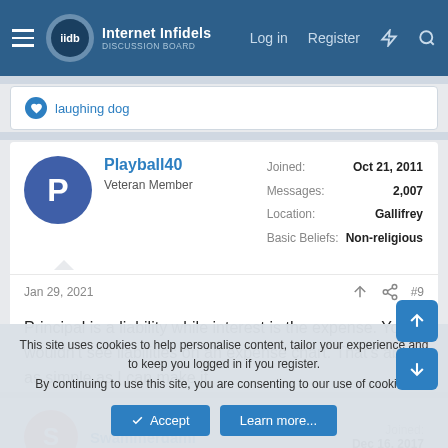Internet Infidels Discussion Board — Log in | Register
laughing dog
Playball40
Veteran Member
Joined: Oct 21, 2011
Messages: 2,007
Location: Gallifrey
Basic Beliefs: Non-religious
Jan 29, 2021  #9
Principal is a liability while interest is the expense. You wouldn't see liabilities on an expense chart. That's about as simple as I can make it.
Swammerdami
Joined: Dec 16, 2017
This site uses cookies to help personalise content, tailor your experience and to keep you logged in if you register.
By continuing to use this site, you are consenting to our use of cookies.